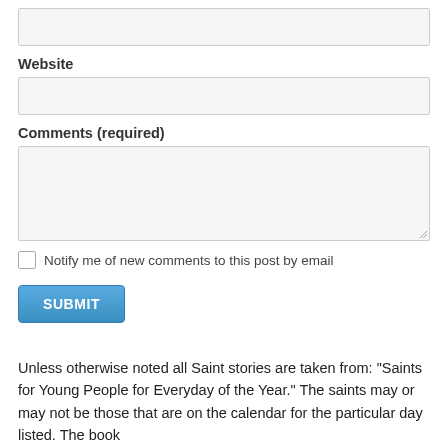[Figure (screenshot): A text input field (empty, light gray background)]
Website
[Figure (screenshot): A text input field for website URL (empty, light gray background)]
Comments (required)
[Figure (screenshot): A large textarea for comments (empty, light gray background, resize handle at bottom right)]
Notify me of new comments to this post by email
[Figure (screenshot): A SUBMIT button with blue gradient background]
Unless otherwise noted all Saint stories are taken from:  "Saints for Young People for Everyday of the Year." The saints may or may not be those that are on the calendar for the particular day listed.  The book